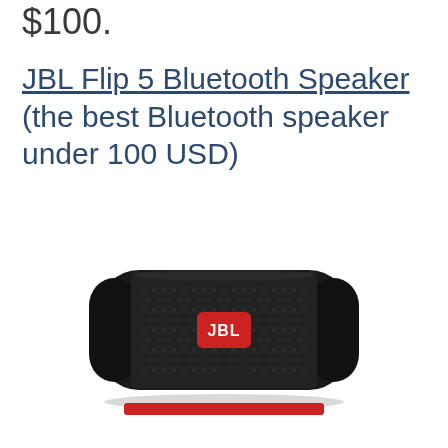$100.
JBL Flip 5 Bluetooth Speaker (the best Bluetooth speaker under 100 USD)
[Figure (photo): JBL Flip 5 portable Bluetooth speaker in black color with red JBL logo badge on the front, viewed from the side at a slight angle. The speaker has a fabric mesh grille and rounded end caps.]
[Figure (other): Partially visible red button or bar at the bottom of the page]